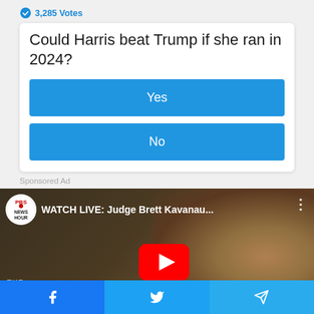3,285 Votes
Could Harris beat Trump if she ran in 2024?
Yes
No
Sponsored Ad
[Figure (screenshot): YouTube video thumbnail for PBS NewsHour: WATCH LIVE: Judge Brett Kavanau... showing The Kavanaugh Confirmation Hearing text with a man smiling in background and YouTube play button overlay]
Facebook | Twitter | Telegram share buttons